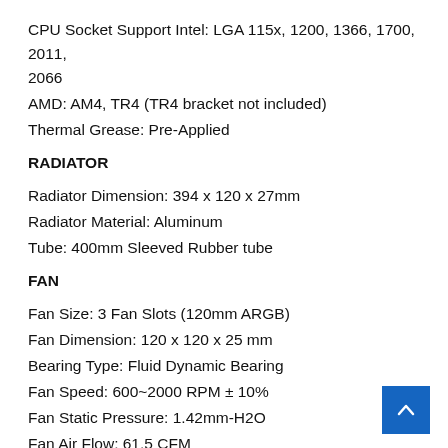CPU Socket Support Intel: LGA 115x, 1200, 1366, 1700, 2011, 2066
AMD: AM4, TR4 (TR4 bracket not included)
Thermal Grease: Pre-Applied
RADIATOR
Radiator Dimension: 394 x 120 x 27mm
Radiator Material: Aluminum
Tube: 400mm Sleeved Rubber tube
FAN
Fan Size: 3 Fan Slots (120mm ARGB)
Fan Dimension: 120 x 120 x 25 mm
Bearing Type: Fluid Dynamic Bearing
Fan Speed: 600~2000 RPM ± 10%
Fan Static Pressure: 1.42mm-H2O
Fan Air Flow: 61.5 CFM